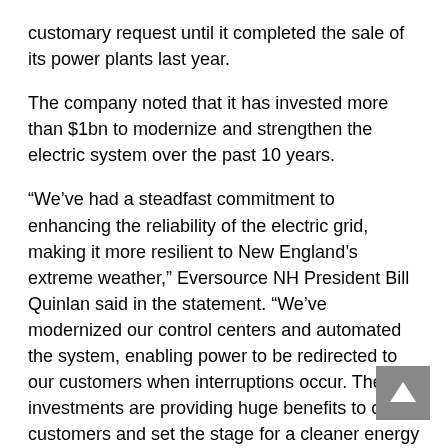customary request until it completed the sale of its power plants last year.
The company noted that it has invested more than $1bn to modernize and strengthen the electric system over the past 10 years.
“We’ve had a steadfast commitment to enhancing the reliability of the electric grid, making it more resilient to New England’s extreme weather,” Eversource NH President Bill Quinlan said in the statement. “We’ve modernized our control centers and automated the system, enabling power to be redirected to our customers when interruptions occur. These investments are providing huge benefits to our customers and set the stage for a cleaner energy future in New Hampshire.”
Eversource said that the notice of intent that it submitted to the New Hampshire Public Utilities Commission is